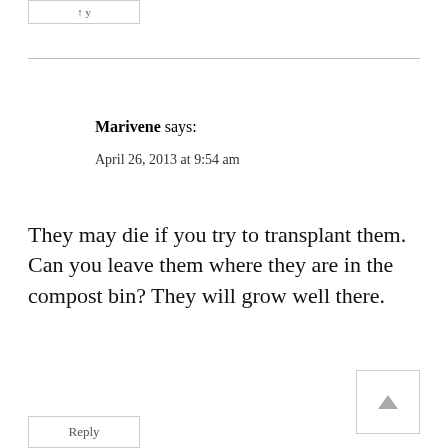Reply (button at top)
Marivene says: April 26, 2013 at 9:54 am
They may die if you try to transplant them. Can you leave them where they are in the compost bin? They will grow well there.
Reply